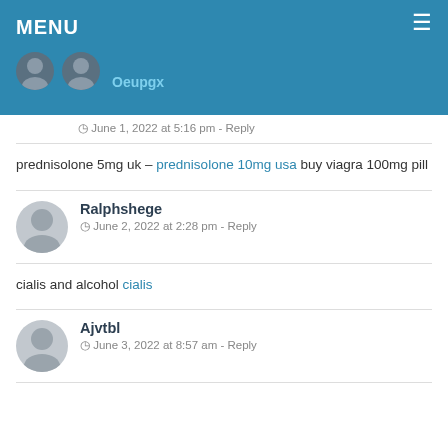MENU
Oeupgx
June 1, 2022 at 5:16 pm - Reply
prednisolone 5mg uk – prednisolone 10mg usa buy viagra 100mg pill
Ralphshege
June 2, 2022 at 2:28 pm - Reply
cialis and alcohol cialis
Ajvtbl
June 3, 2022 at 8:57 am - Reply